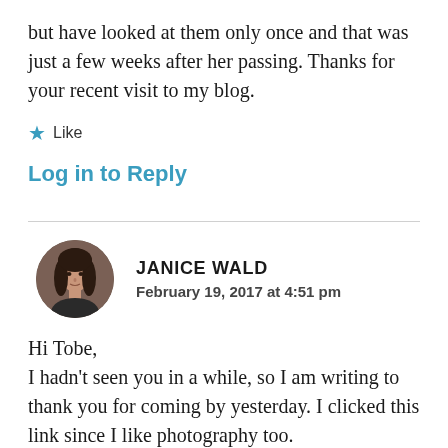but have looked at them only once and that was just a few weeks after her passing. Thanks for your recent visit to my blog.
★ Like
Log in to Reply
JANICE WALD
February 19, 2017 at 4:51 pm
Hi Tobe,
I hadn't seen you in a while, so I am writing to thank you for coming by yesterday. I clicked this link since I like photography too.